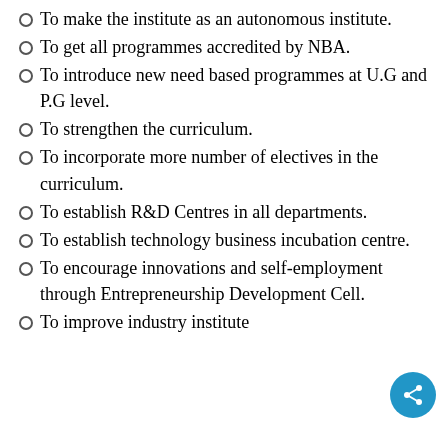To make the institute as an autonomous institute.
To get all programmes accredited by NBA.
To introduce new need based programmes at U.G and P.G level.
To strengthen the curriculum.
To incorporate more number of electives in the curriculum.
To establish R&D Centres in all departments.
To establish technology business incubation centre.
To encourage innovations and self-employment through Entrepreneurship Development Cell.
To improve industry institute...